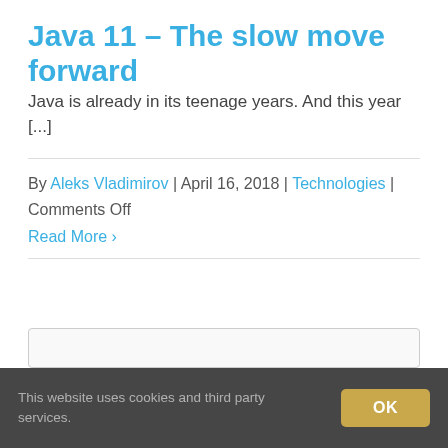Java 11 – The slow move forward
Java is already in its teenage years. And this year [...]
By Aleks Vladimirov | April 16, 2018 | Technologies | Comments Off
Read More ›
This website uses cookies and third party services.